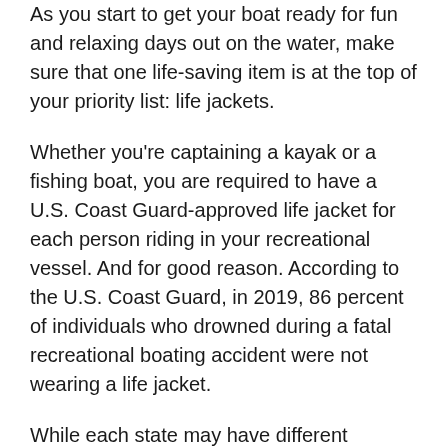As you start to get your boat ready for fun and relaxing days out on the water, make sure that one life-saving item is at the top of your priority list: life jackets.
Whether you're captaining a kayak or a fishing boat, you are required to have a U.S. Coast Guard-approved life jacket for each person riding in your recreational vessel. And for good reason. According to the U.S. Coast Guard, in 2019, 86 percent of individuals who drowned during a fatal recreational boating accident were not wearing a life jacket.
While each state may have different regulations for when and where to wear a life jacket, your safest choice is to don one at all times when you're on the water.